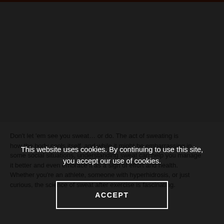[Figure (photo): Light gray placeholder image area beneath an orange-red top bar]
Don't let 'em see you sweat… or do. The act of sweating is
This website uses cookies. By continuing to use this site, you accept our use of cookies.
ACCEPT